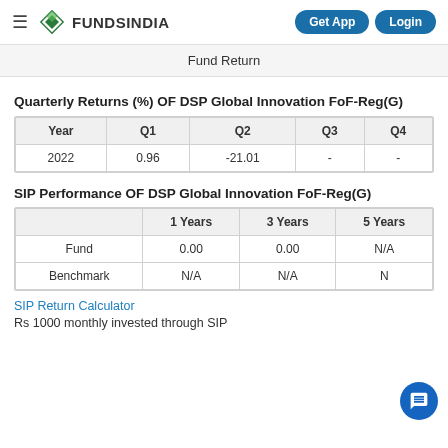FUNDSINDIA | Get App | Login
Fund Return
Quarterly Returns (%) OF DSP Global Innovation FoF-Reg(G)
| Year | Q1 | Q2 | Q3 | Q4 |
| --- | --- | --- | --- | --- |
| 2022 | 0.96 | -21.01 | - | - |
SIP Performance OF DSP Global Innovation FoF-Reg(G)
|  | 1 Years | 3 Years | 5 Years |
| --- | --- | --- | --- |
| Fund | 0.00 | 0.00 | N/A |
| Benchmark | N/A | N/A | N |
SIP Return Calculator
Rs 1000 monthly invested through SIP